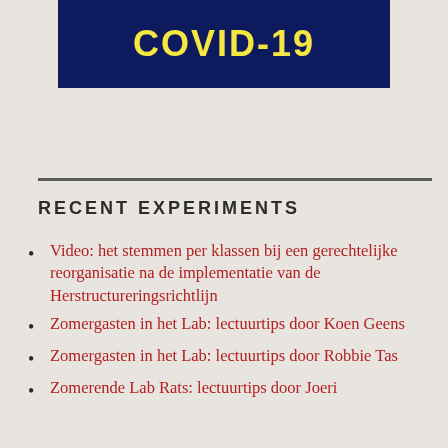[Figure (other): Dark navy blue banner with yellow bold text reading COVID-19]
RECENT EXPERIMENTS
Video: het stemmen per klassen bij een gerechtelijke reorganisatie na de implementatie van de Herstructureringsrichtlijn
Zomergasten in het Lab: lectuurtips door Koen Geens
Zomergasten in het Lab: lectuurtips door Robbie Tas
Zomerende Lab Rats: lectuurtips door Joeri